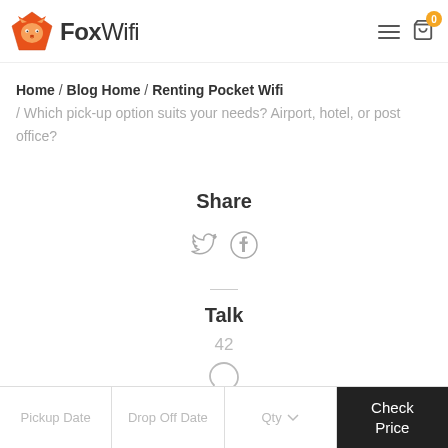FoxWifi
Home / Blog Home / Renting Pocket Wifi / Which pick-up option suits your needs? Airport, hotel, or post office?
Share
[Figure (illustration): Twitter and Facebook share icons]
Talk
42
[Figure (illustration): Comment speech bubble icon]
Pickup Date | Drop Off Date | Qty | Check Price